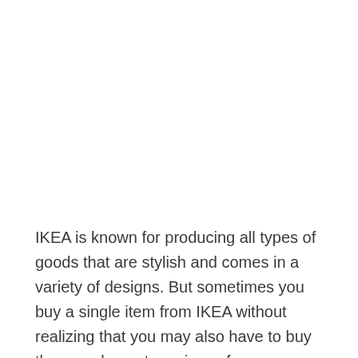IKEA is known for producing all types of goods that are stylish and comes in a variety of designs. But sometimes you buy a single item from IKEA without realizing that you may also have to buy the complementary pieces from